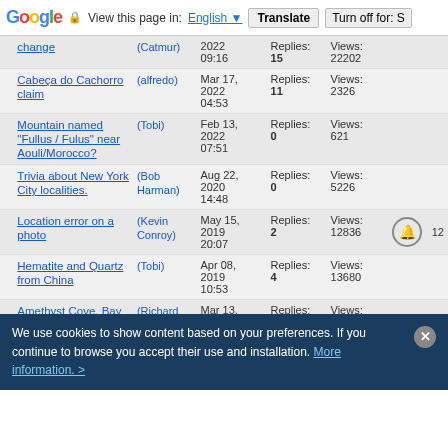Google | View this page in: English | Translate | Turn off for: S
| Topic | Author | Date | Stats |  | Page |
| --- | --- | --- | --- | --- | --- |
| change | (Catmur) | 2022 09:16 | Replies: 15 Views: 22202 |  |  |
| Cabeça do Cachorro claim | (alfredo) | Mar 17, 2022 04:53 | Replies: 11 Views: 2326 |  |  |
| Mountain named "Fullus / Fulus" near Aouli/Morocco? | (Tobi) | Feb 13, 2022 07:51 | Replies: 0 Views: 621 |  |  |
| Trivia about New York City localities. | (Bob Harman) | Aug 22, 2020 14:48 | Replies: 0 Views: 5226 |  |  |
| Location error on a photo | (Kevin Conroy) | May 15, 2019 20:07 | Replies: 2 Views: 12836 | bell | 12 |
| Hematite and Quartz from China | (Tobi) | Apr 08, 2019 10:53 | Replies: 4 Views: 13680 |  |  |
| Amethyst Cove, Bay of Fundy, Cumberland County, Nova Scotia, Canada - Correction | (Richard Arseneau) | Mar 13, 2019 10:55 | Replies: 4 Views: 14447 |  |  |
| Modificación requested for Capestang locality | (Philippe Durand) | Mar 24, 2017 12:31 | Replies: 2 Views: 16334 |  |  |
| Change in French | (Philippe | Mar 24, 2017 | Replies: Views: |  |  |
We use cookies to show content based on your preferences. If you continue to browse you accept their use and installation. More information. >